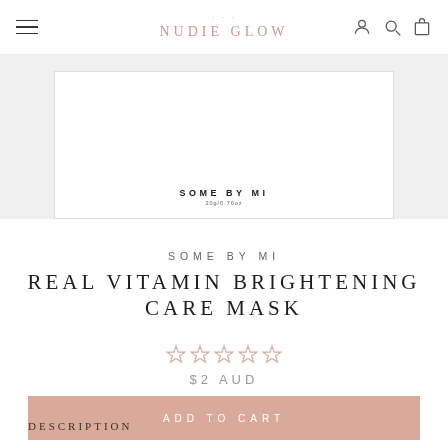NUDIE GLOW
[Figure (photo): Product image of Some By Mi Real Vitamin Brightening Care Mask packaging, white rectangular box with brand text]
SOME BY MI
REAL VITAMIN BRIGHTENING CARE MASK
☆☆☆☆☆
$2 AUD
ADD TO CART
DESCRIPTION